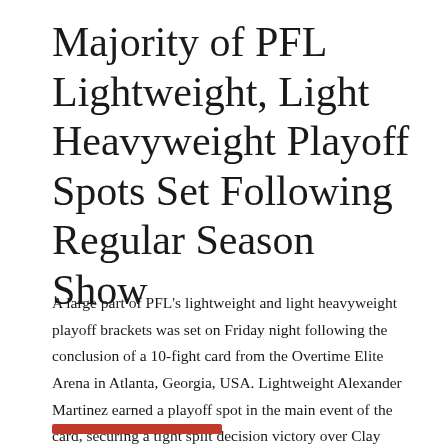Majority of PFL Lightweight, Light Heavyweight Playoff Spots Set Following Regular Season Show
A large part of PFL's lightweight and light heavyweight playoff brackets was set on Friday night following the conclusion of a 10-fight card from the Overtime Elite Arena in Atlanta, Georgia, USA. Lightweight Alexander Martinez earned a playoff spot in the main event of the card, securing a tight split decision victory over Clay Collard …